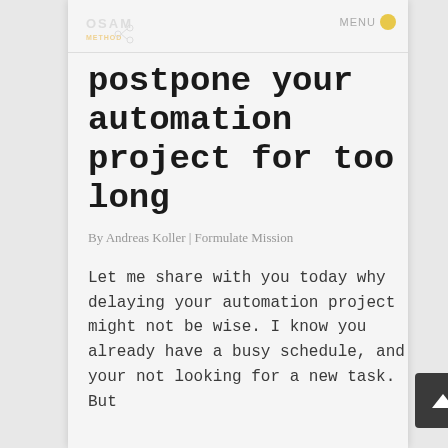OSAM METHOD | MENU
postpone your automation project for too long
By Andreas Koller | Formulate Mission
Let me share with you today why delaying your automation project might not be wise. I know you already have a busy schedule, and your not looking for a new task. But I think the fact that...